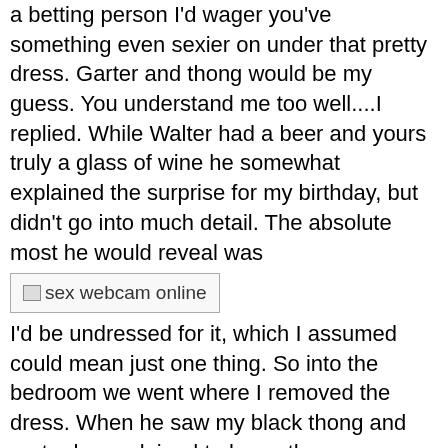a betting person I'd wager you've something even sexier on under that pretty dress. Garter and thong would be my guess. You understand me too well....I replied. While Walter had a beer and yours truly a glass of wine he somewhat explained the surprise for my birthday, but didn't go into much detail. The absolute most he would reveal was
[Figure (other): Broken image placeholder labeled 'sex webcam online']
I'd be undressed for it, which I assumed could mean just one thing. So into the bedroom we went where I removed the dress. When he saw my black thong and garter he explained to leave them on combined with the stockings and high heels since I looked simply delicious in them. Then he asked me to lie on the bed and wait until he returned with the surprise. Strangely he closed the door behind him when he left. Obviously he didn't want me to know whatever he was up to.
I acquired off the bed and told them to take a seat on the side of the bed therefore I could pull their cocks to simply help points along until such time Walt was prepared with the recording equipment. Neither hesitated. After they certainly were placed I knelt before them and took Bill's dick in my